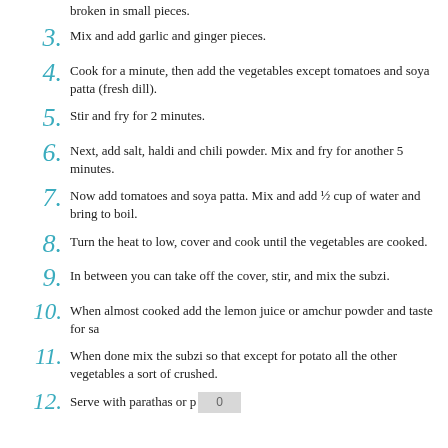broken in small pieces.
3. Mix and add garlic and ginger pieces.
4. Cook for a minute, then add the vegetables except tomatoes and soya patta (fresh dill).
5. Stir and fry for 2 minutes.
6. Next, add salt, haldi and chili powder. Mix and fry for another 5 minutes.
7. Now add tomatoes and soya patta. Mix and add ½ cup of water and bring to boil.
8. Turn the heat to low, cover and cook until the vegetables are cooked.
9. In between you can take off the cover, stir, and mix the subzi.
10. When almost cooked add the lemon juice or amchur powder and taste for sa
11. When done mix the subzi so that except for potato all the other vegetables a sort of crushed.
12. Serve with parathas or p